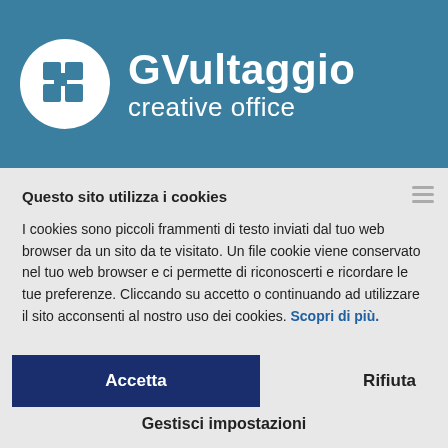[Figure (logo): GVultaggio creative office logo: white circle with blue squares icon on teal/blue banner background, with company name 'GVultaggio creative office' in white text]
Questo sito utilizza i cookies
I cookies sono piccoli frammenti di testo inviati dal tuo web browser da un sito da te visitato. Un file cookie viene conservato nel tuo web browser e ci permette di riconoscerti e ricordare le tue preferenze. Cliccando su accetto o continuando ad utilizzare il sito acconsenti al nostro uso dei cookies. Scopri di più.
Accetta
Rifiuta
Gestisci impostazioni